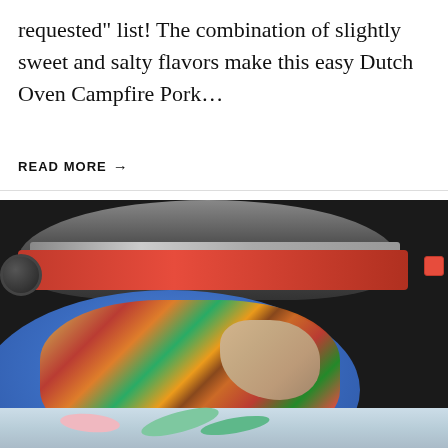requested" list! The combination of slightly sweet and salty flavors make this easy Dutch Oven Campfire Pork…
READ MORE →
[Figure (photo): Photo of a campfire stove (red portable camp stove) in the background, and a blue speckled plate in the foreground loaded with Dutch Oven Campfire Pork with vegetables including red peppers, green herbs, tomatoes, and pork chops. A scroll-to-top button with an upward arrow is overlaid in the lower-left corner of the image. The bottom of the image shows a blurred continuation of the plate with green celery and pink/white vegetables.]